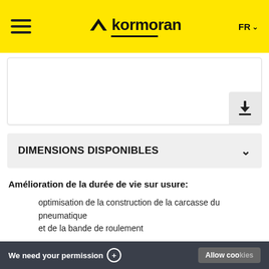Kormoran — FR
[Figure (other): White content box with a download icon button in the bottom-right corner]
DIMENSIONS DISPONIBLES
Amélioration de la durée de vie sur usure:
optimisation de la construction de la carcasse du pneumatique et de la bande de roulement
We need your permission + Allow cookies